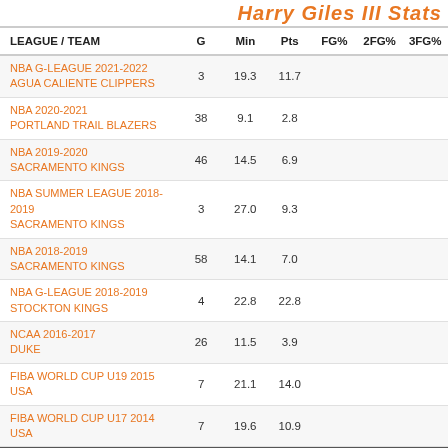Harry Giles III Stats
| LEAGUE / TEAM | G | Min | Pts | FG% | 2FG% | 3FG% |
| --- | --- | --- | --- | --- | --- | --- |
| NBA G-LEAGUE 2021-2022 AGUA CALIENTE CLIPPERS | 3 | 19.3 | 11.7 |  |  |  |
| NBA 2020-2021 PORTLAND TRAIL BLAZERS | 38 | 9.1 | 2.8 |  |  |  |
| NBA 2019-2020 SACRAMENTO KINGS | 46 | 14.5 | 6.9 |  |  |  |
| NBA SUMMER LEAGUE 2018-2019 SACRAMENTO KINGS | 3 | 27.0 | 9.3 |  |  |  |
| NBA 2018-2019 SACRAMENTO KINGS | 58 | 14.1 | 7.0 |  |  |  |
| NBA G-LEAGUE 2018-2019 STOCKTON KINGS | 4 | 22.8 | 22.8 |  |  |  |
| NCAA 2016-2017 DUKE | 26 | 11.5 | 3.9 |  |  |  |
| FIBA WORLD CUP U19 2015 USA | 7 | 21.1 | 14.0 |  |  |  |
| FIBA WORLD CUP U17 2014 USA | 7 | 19.6 | 10.9 |  |  |  |
| FIBA AMERICAS U16 2013 USA | 2 | 12.0 | 7.0 |  |  |  |